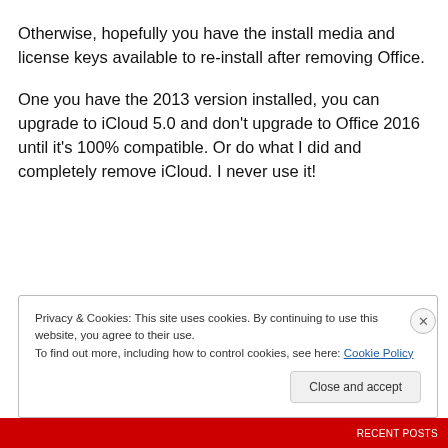Otherwise, hopefully you have the install media and license keys available to re-install after removing Office.
One you have the 2013 version installed, you can upgrade to iCloud 5.0 and don't upgrade to Office 2016 until it's 100% compatible. Or do what I did and completely remove iCloud. I never use it!
Privacy & Cookies: This site uses cookies. By continuing to use this website, you agree to their use.
To find out more, including how to control cookies, see here: Cookie Policy
Close and accept